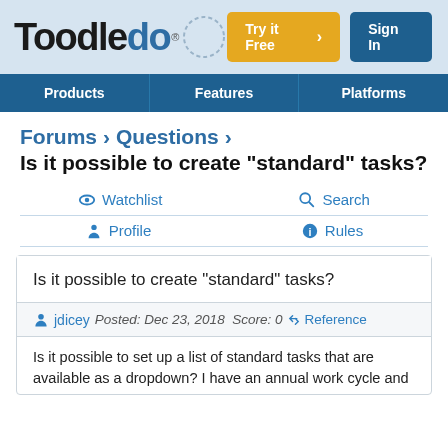Toodledo — Try it Free | Sign In
Products | Features | Platforms
Forums > Questions > Is it possible to create "standard" tasks?
Watchlist   Search   Profile   Rules
Is it possible to create "standard" tasks?
jdicey   Posted: Dec 23, 2018   Score: 0   Reference
Is it possible to set up a list of standard tasks that are available as a dropdown? I have an annual work cycle and